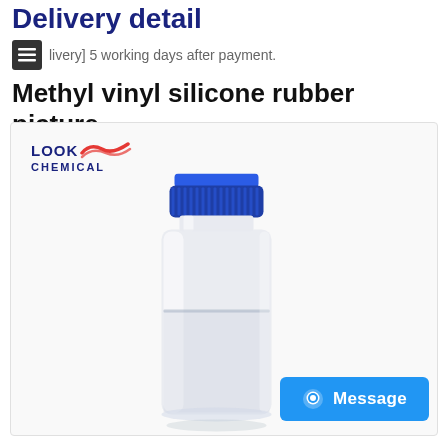Delivery detail
[Delivery] 5 working days after payment.
Methyl vinyl silicone rubber picture
[Figure (photo): A glass vial/bottle with a blue screw cap containing a clear/slightly opaque liquid, with Look Chemical logo in the top-left corner of the image frame. A blue Message button is overlaid at the bottom-right.]